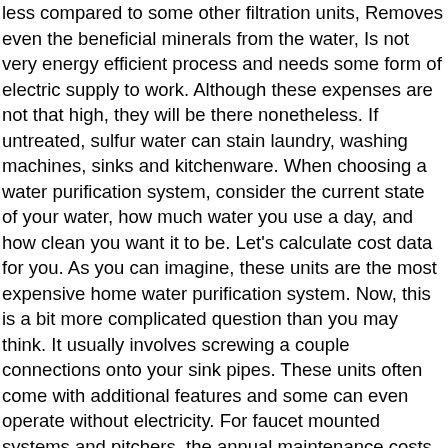less compared to some other filtration units, Removes even the beneficial minerals from the water, Is not very energy efficient process and needs some form of electric supply to work. Although these expenses are not that high, they will be there nonetheless. If untreated, sulfur water can stain laundry, washing machines, sinks and kitchenware. When choosing a water purification system, consider the current state of your water, how much water you use a day, and how clean you want it to be. Let's calculate cost data for you. As you can imagine, these units are the most expensive home water purification system. Now, this is a bit more complicated question than you may think. It usually involves screwing a couple connections onto your sink pipes. These units often come with additional features and some can even operate without electricity. For faucet mounted systems and pitchers, the annual maintenance costs will usually stay below $150. Find hiring guides, material costs, expert advice, how-to's and more. The task described is not specific enough, Show me more context of what's included in the cost, Show me more cost per measure (ex: per sq.ft., per hour, etc. Also, these systems require their membrane filters replaced after a certain amount of usage. Let's take a look at them one by one. The Aquasana Rhino Well Water Filtration System is an advanced unit that offers a wide range of features. These units often come with